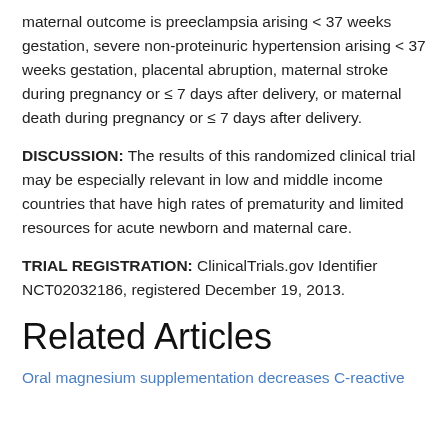maternal outcome is preeclampsia arising < 37 weeks gestation, severe non-proteinuric hypertension arising < 37 weeks gestation, placental abruption, maternal stroke during pregnancy or ≤ 7 days after delivery, or maternal death during pregnancy or ≤ 7 days after delivery.
DISCUSSION: The results of this randomized clinical trial may be especially relevant in low and middle income countries that have high rates of prematurity and limited resources for acute newborn and maternal care.
TRIAL REGISTRATION: ClinicalTrials.gov Identifier NCT02032186, registered December 19, 2013.
Related Articles
Oral magnesium supplementation decreases C-reactive